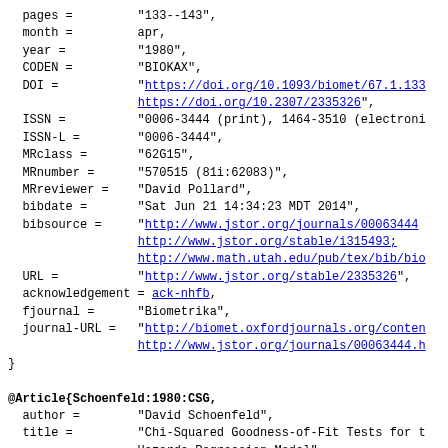BibTeX bibliography entry block showing fields: pages, month, year, CODEN, DOI, ISSN, ISSN-L, MRclass, MRnumber, MRreviewer, bibdate, bibsource, URL, acknowledgement, fjournal, journal-URL, followed by @Article{Schoenfeld:1980:CSG with fields author, title, journal, volume, number, pages